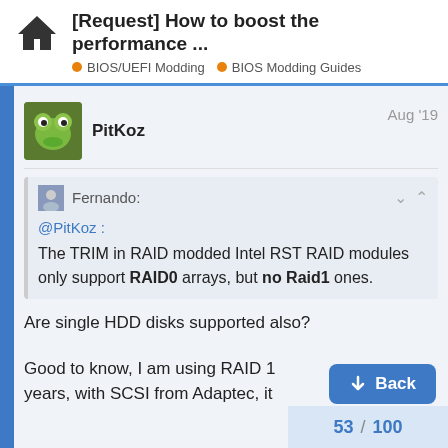[Request] How to boost the performance ... | BIOS/UEFI Modding | BIOS Modding Guides
PitKoz — Aug '19
Fernando:
@PitKoz :
The TRIM in RAID modded Intel RST RAID modules only support RAID0 arrays, but no Raid1 ones.
Are single HDD disks supported also?
Good to know, I am using RAID 1 years, with SCSI from Adaptec, it